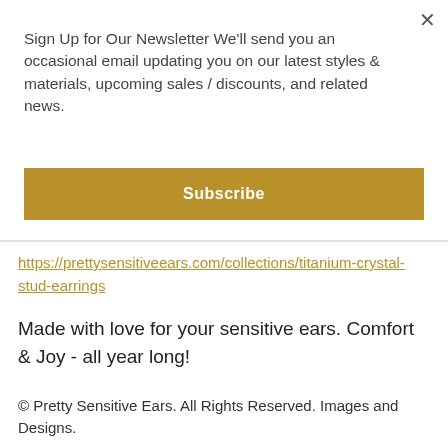×
Sign Up for Our Newsletter We'll send you an occasional email updating you on our latest styles & materials, upcoming sales / discounts, and related news.
Subscribe
https://prettysensitiveears.com/collections/titanium-crystal-stud-earrings
Made with love for your sensitive ears. Comfort & Joy - all year long!
© Pretty Sensitive Ears. All Rights Reserved. Images and Designs.